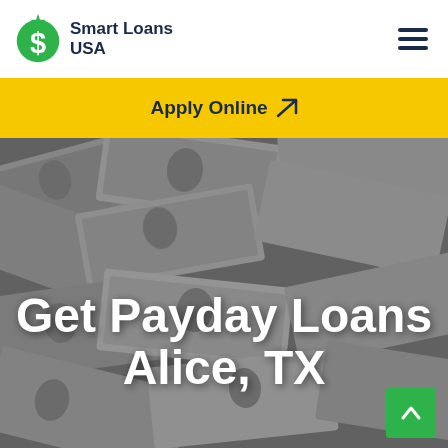[Figure (logo): Smart Loans USA logo with green dollar sign icon and dark blue bold text]
Apply Online ✈
[Figure (photo): Background of scattered US dollar bills in black and white with large white bold text reading 'Get Payday Loans Alice, TX' and a green scroll-up button in the bottom right corner]